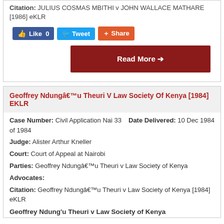Citation: JULIUS COSMAS MBITHI v JOHN WALLACE MATHARE [1986] eKLR
[Figure (screenshot): Social sharing buttons: Like 0 (Facebook), Tweet (Twitter), Share (Google+)]
[Figure (screenshot): Read More button (dark red)]
Geoffrey Ndungâ€™u Theuri V Law Society Of Kenya [1984] EKLR
Case Number: Civil Application Nai 33 of 1984
Date Delivered: 10 Dec 1984
Judge: Alister Arthur Kneller
Court: Court of Appeal at Nairobi
Parties: Geoffrey Ndungâ€™u Theuri v Law Society of Kenya
Advocates:
Citation: Geoffrey Ndungâ€™u Theuri v Law Society of Kenya [1984] eKLR
Geoffrey Ndung'u Theuri v Law Society of Kenya